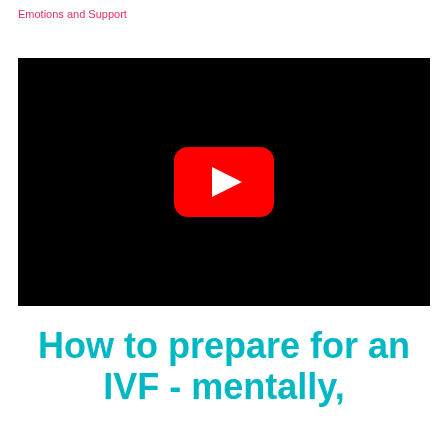Emotions and Support
[Figure (screenshot): YouTube video player embed with black background and red YouTube play button icon centered]
How to prepare for an IVF - mentally,